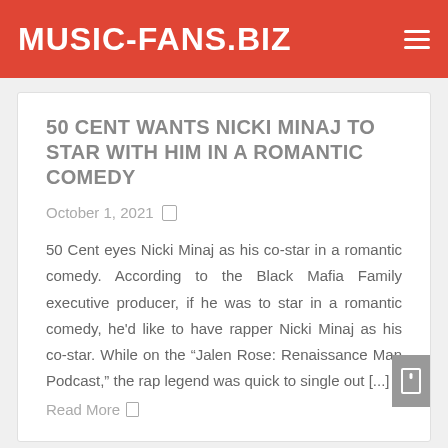MUSIC-FANS.BIZ
50 CENT WANTS NICKI MINAJ TO STAR WITH HIM IN A ROMANTIC COMEDY
October 1, 2021
50 Cent eyes Nicki Minaj as his co-star in a romantic comedy. According to the Black Mafia Family executive producer, if he was to star in a romantic comedy, he'd like to have rapper Nicki Minaj as his co-star. While on the "Jalen Rose: Renaissance Man Podcast," the rap legend was quick to single out [...]
Read More